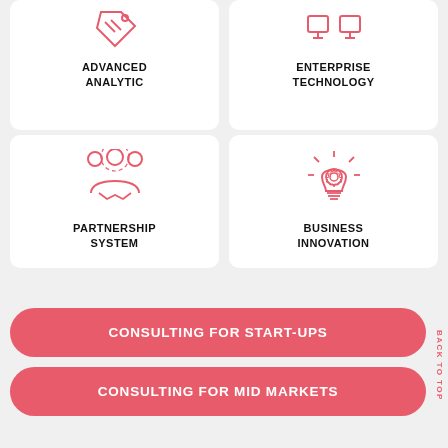[Figure (infographic): Card with red outline icon of a tag/label - Advanced Analytic]
ADVANCED ANALYTIC
[Figure (infographic): Card with red outline icon of monitors - Enterprise Technology]
ENTERPRISE TECHNOLOGY
[Figure (infographic): Card with red outline icon of people shaking hands with gear - Partnership System]
PARTNERSHIP SYSTEM
[Figure (infographic): Card with red outline lightbulb with gear icon - Business Innovation]
BUSINESS INNOVATION
CONSULTING FOR START-UPS
CONSULTING FOR MID MARKETS